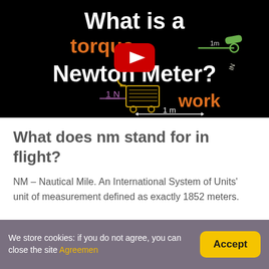[Figure (screenshot): YouTube video thumbnail showing 'What is a torque Newton Meter?' with a red play button, shopping cart graphic, wrench illustration, and text labels for '1 m', 'IN', and 'work' on a black background.]
What does nm stand for in flight?
NM – Nautical Mile. An International System of Units' unit of measurement defined as exactly 1852 meters.
We store cookies: if you do not agree, you can close the site Agreement Accept